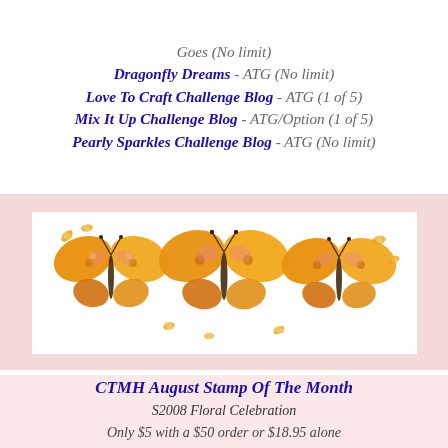Goes (No limit)
Dragonfly Dreams - ATG (No limit)
Love To Craft Challenge Blog - ATG (1 of 5)
Mix It Up Challenge Blog - ATG/Option (1 of 5)
Pearly Sparkles Challenge Blog - ATG (No limit)
[Figure (illustration): Three large golden/orange butterflies with smaller butterflies scattered around them on a white background with pink border]
CTMH August Stamp Of The Month
S2008 Floral Celebration
Only $5 with a $50 order or $18.95 alone
[Figure (illustration): Black silhouette of a decorative flower stamp and a 'Celebrating You' stamp design with cursive text below]